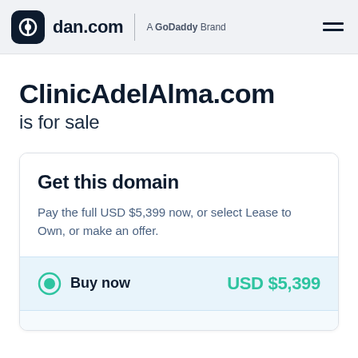dan.com | A GoDaddy Brand
ClinicAdelAlma.com is for sale
Get this domain
Pay the full USD $5,399 now, or select Lease to Own, or make an offer.
Buy now  USD $5,399